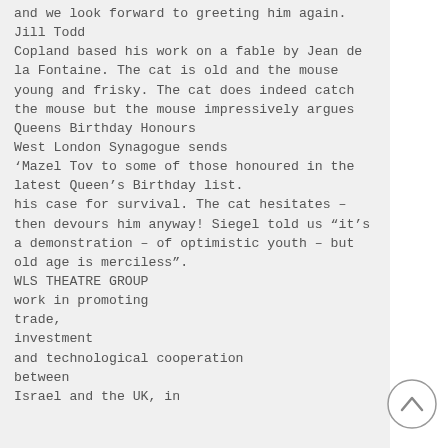and we look forward to greeting him again.
Jill Todd
Copland based his work on a fable by Jean de la Fontaine. The cat is old and the mouse young and frisky. The cat does indeed catch the mouse but the mouse impressively argues
Queens Birthday Honours
West London Synagogue sends
‘Mazel Tov to some of those honoured in the latest Queen’s Birthday list.
his case for survival. The cat hesitates – then devours him anyway! Siegel told us “it’s a demonstration – of optimistic youth – but old age is merciless”.
WLS THEATRE GROUP
work in promoting trade, investment and technological cooperation between Israel and the UK, in